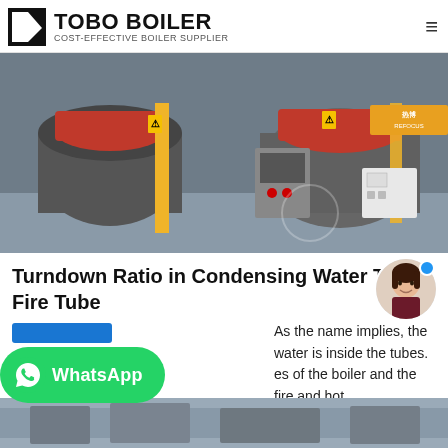TOBO BOILER — COST-EFFECTIVE BOILER SUPPLIER
[Figure (photo): Industrial boiler room with multiple red-topped boilers, yellow gas pipes, and control panels on a factory floor]
Turndown Ratio in Condensing Water Tube vs. Fire Tube
As the name implies, the water is inside the tubes. es of the boiler and the fire and hot the tubes. This is like a shell and tube heat exchanger where the water flows through the tubes and ste…
[Figure (photo): Bottom partial photo of industrial boiler installation]